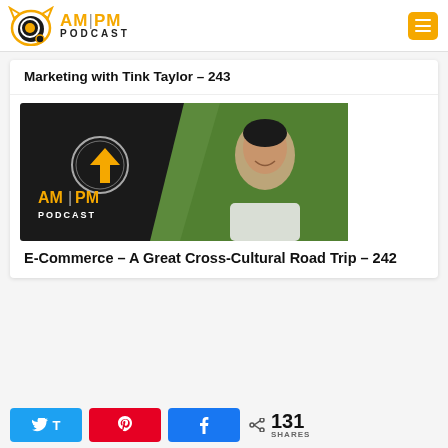[Figure (logo): AM|PM Podcast logo with cat icon and orange text]
Marketing with Tink Taylor – 243
[Figure (photo): AMPM Podcast branded image with young smiling man on green background]
E-Commerce – A Great Cross-Cultural Road Trip – 242
< 131 SHARES with Twitter, Pinterest, Facebook share buttons